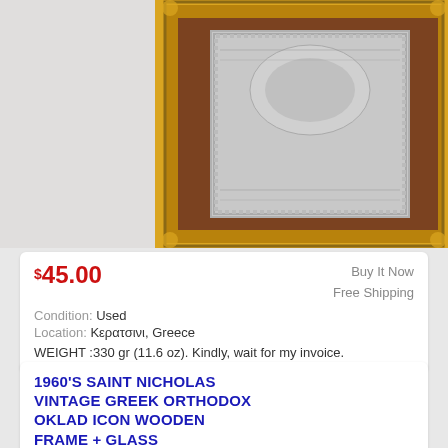[Figure (photo): Framed Greek Orthodox icon with ornate gold and brown wooden frame, silver metalwork icon visible at center top of page]
$45.00
Buy It Now
Free Shipping
Condition: Used
Location: Κερατσινι, Greece
WEIGHT :330 gr (11.6 oz). Kindly, wait for my invoice.
1960'S SAINT NICHOLAS VINTAGE GREEK ORTHODOX OKLAD ICON WOODEN FRAME + GLASS
[Figure (photo): Hands holding a small framed Greek Orthodox icon with wooden brown frame and silver metalwork oklad, bottom of page]